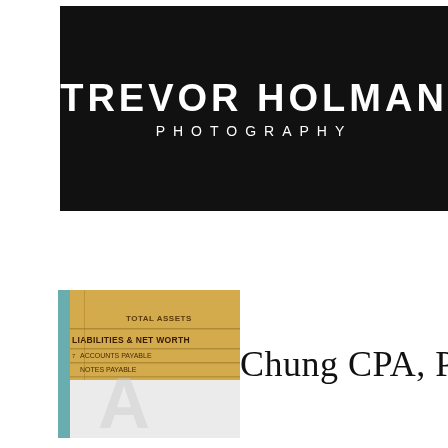[Figure (logo): Trevor Holman Photography logo: black background with white uppercase bold text 'TREVOR HOLMAN' and below in spaced caps 'PHOTOGRAPHY']
[Figure (photo): Close-up photo of a financial ledger sheet showing rows including 'TOTAL ASSETS', 'LIABILITIES & NET WORTH', 'ACCOUNTS PAYABLE', 'NOTES PAYABLE' printed on golden/yellow paper, with a teal/blue accent strip on the left side]
Chung CPA, PA